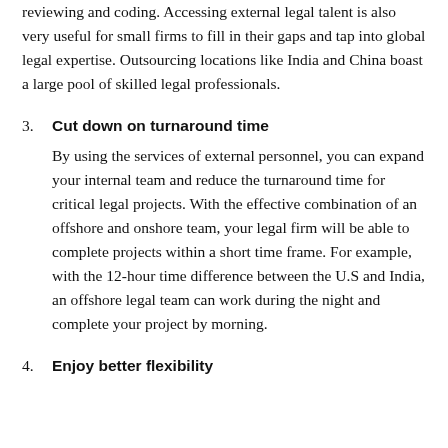reviewing and coding. Accessing external legal talent is also very useful for small firms to fill in their gaps and tap into global legal expertise. Outsourcing locations like India and China boast a large pool of skilled legal professionals.
3. Cut down on turnaround time
By using the services of external personnel, you can expand your internal team and reduce the turnaround time for critical legal projects. With the effective combination of an offshore and onshore team, your legal firm will be able to complete projects within a short time frame. For example, with the 12-hour time difference between the U.S and India, an offshore legal team can work during the night and complete your project by morning.
4. Enjoy better flexibility